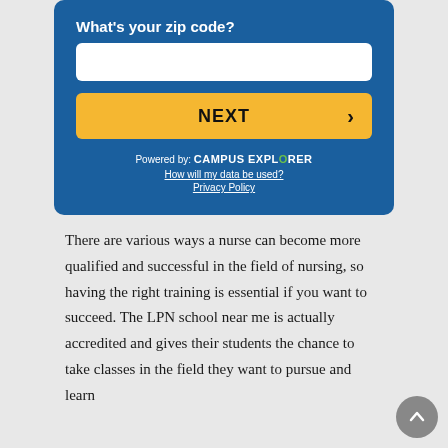What's your zip code?
[Figure (screenshot): A web form widget with a zip code input field, a yellow NEXT button with a right arrow, powered by Campus Explorer branding, and links for data usage and privacy policy on a blue background.]
There are various ways a nurse can become more qualified and successful in the field of nursing, so having the right training is essential if you want to succeed. The LPN school near me is actually accredited and gives their students the chance to take classes in the field they want to pursue and learn